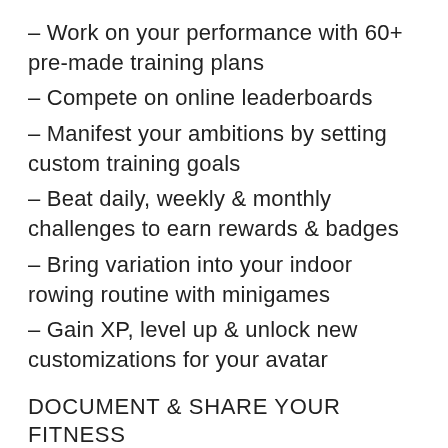– Work on your performance with 60+ pre-made training plans
– Compete on online leaderboards
– Manifest your ambitions by setting custom training goals
– Beat daily, weekly & monthly challenges to earn rewards & badges
– Bring variation into your indoor rowing routine with minigames
– Gain XP, level up & unlock new customizations for your avatar
DOCUMENT & SHARE YOUR FITNESS PROGRESS